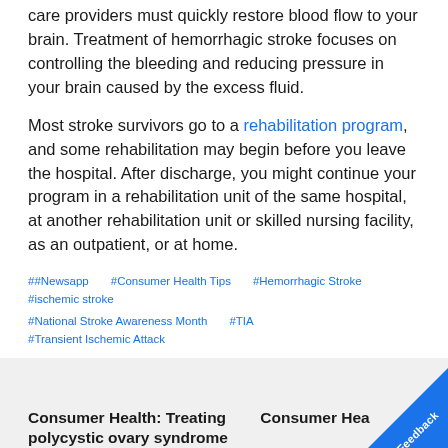care providers must quickly restore blood flow to your brain. Treatment of hemorrhagic stroke focuses on controlling the bleeding and reducing pressure in your brain caused by the excess fluid.
Most stroke survivors go to a rehabilitation program, and some rehabilitation may begin before you leave the hospital. After discharge, you might continue your program in a rehabilitation unit of the same hospital, at another rehabilitation unit or skilled nursing facility, as an outpatient, or at home.
##Newsapp  #Consumer Health Tips  #Hemorrhagic Stroke  #ischemic stroke  #National Stroke Awareness Month  #TIA  #Transient Ischemic Attack
Consumer Health: Treating polycystic ovary syndrome
Consumer Hea...